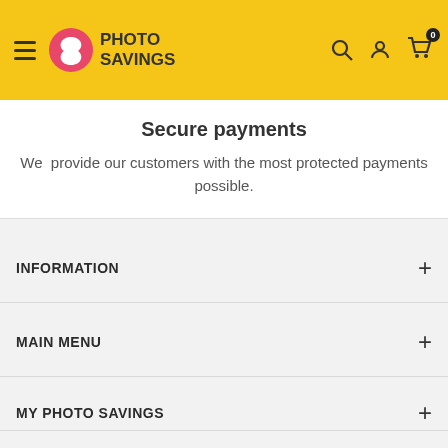Photo Savings — navigation header with hamburger menu, logo, search, account, and cart (0 items)
Secure payments
We  provide our customers with the most protected payments possible.
INFORMATION
MAIN MENU
MY PHOTO SAVINGS
STAY IN TOUCH
Sign up to receive our special offers